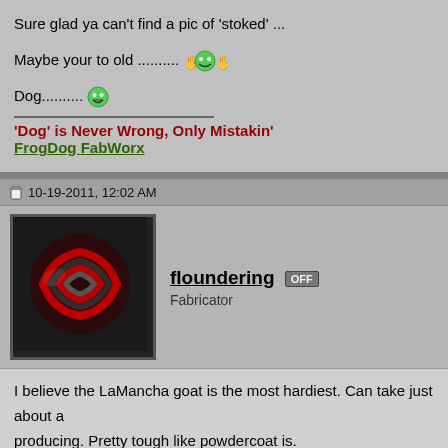Sure glad ya can't find a pic of 'stoked' ...
Maybe your to old .......... [stoked emoticon]
Dog.......... [grin emoticon]
'Dog' is Never Wrong, Only Mistakin'
FrogDog FabWorx
10-19-2011, 12:02 AM
[Figure (photo): User avatar showing coiled hoses or cables in red and black]
floundering [OFF] Fabricator
I believe the LaMancha goat is the most hardiest. Can take just about a producing. Pretty tough like powdercoat is.
"LaMancha" (you have to say it on one knee with your hand in front of y with great enthusiasm) [grin emoticon]
I also like old Bessy [cool emoticon]